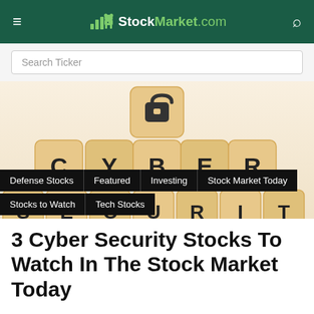≡  StockMarket.com  🔍
Search Ticker
[Figure (photo): Wooden letter cubes arranged to spell CYBER SECURITY with a padlock icon on top cube, on a light beige background]
Defense Stocks
Featured
Investing
Stock Market Today
Stocks to Watch
Tech Stocks
3 Cyber Security Stocks To Watch In The Stock Market Today